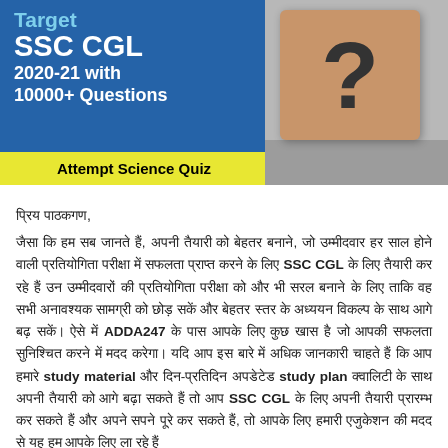[Figure (illustration): Banner image for Target SSC CGL 2020-21 with 10000+ Questions. Left side has blue background with white and cyan text. Right side shows a wooden block with question mark. Yellow strip at bottom says Attempt Science Quiz.]
प्रिय पाठकगण,
जैसा कि हम सब जानते हैं, अपनी तैयारी को बेहतर बनाने, जो उम्मीदवार हर साल होने वाली प्रतियोगिता परीक्षा में सफलता प्राप्त करने के लिए SSC CGL के लिए तैयारी कर रहे हैं उन उम्मीदवारों की प्रतियोगिता परीक्षा को और भी सरल बनाने के लिए ताकि वह सभी अनावश्यक सामग्री को छोड़ सकें और बेहतर स्तर के अध्ययन विकल्प के साथ आगे बढ़ सकें। ऐसे में ADDA247 के पास आपके लिए कुछ खास है जो आपकी सफलता सुनिश्चित करने में मदद करेगा। यदि आप इस बारे में अधिक जानकारी चाहते हैं कि आप हमारे study material और दिन-प्रतिदिन अपडेटेड study plan क्वालिटी के साथ अपनी तैयारी को आगे बढ़ा सकते SSC CGL के लिए अपनी तैयारी प्रारम्भ कर सकते हैं और अपने सपने पूरे कर सकते हैं, तो आपके लिए हमारी एजुकेशन की मदद से यह हम आपके लिए ला रहे हैं